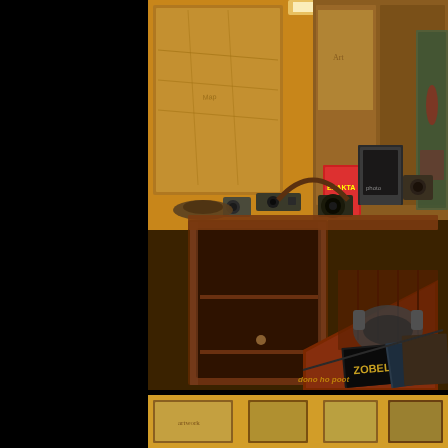[Figure (photo): Indoor antique shop or museum display scene showing a wooden secretary desk/bureau with shelves, vintage cameras including one labeled EXAKTA in a red box, books including one labeled ZOBEL, headphones on the slanted desk surface, maps and artwork on the walls, and various collectibles. Warm amber/orange lighting. Watermark text 'dono ho poot' visible in bottom right corner.]
[Figure (photo): Partial bottom strip showing framed artwork or photographs on a wall with warm yellow lighting, partially cut off.]